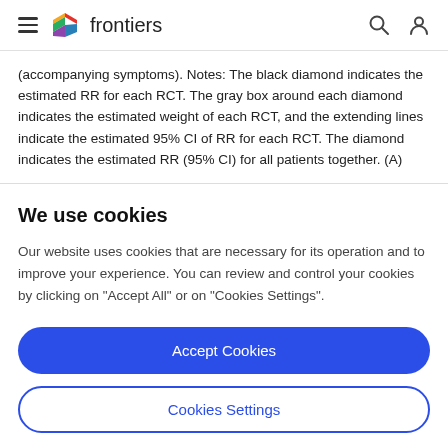frontiers
(accompanying symptoms). Notes: The black diamond indicates the estimated RR for each RCT. The gray box around each diamond indicates the estimated weight of each RCT, and the extending lines indicate the estimated 95% CI of RR for each RCT. The diamond indicates the estimated RR (95% CI) for all patients together. (A)
We use cookies
Our website uses cookies that are necessary for its operation and to improve your experience. You can review and control your cookies by clicking on "Accept All" or on "Cookies Settings".
Accept Cookies
Cookies Settings